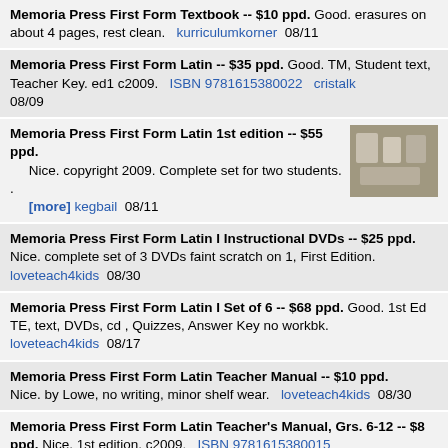Memoria Press First Form Textbook -- $10 ppd. Good. erasures on about 4 pages, rest clean.  kurriculumkorner  08/11
Memoria Press First Form Latin -- $35 ppd. Good. TM, Student text, Teacher Key. ed1 c2009.  ISBN 9781615380022  cristalk  08/09
Memoria Press First Form Latin 1st edition -- $55 ppd. Nice. copyright 2009. Complete set for two students. . [more] kegbail 08/11
Memoria Press First Form Latin I Instructional DVDs -- $25 ppd. Nice. complete set of 3 DVDs faint scratch on 1, First Edition. loveteach4kids  08/30
Memoria Press First Form Latin I Set of 6 -- $68 ppd. Good. 1st Ed TE, text, DVDs, cd , Quizzes, Answer Key no workbk. loveteach4kids  08/17
Memoria Press First Form Latin Teacher Manual -- $10 ppd. Nice. by Lowe, no writing, minor shelf wear.  loveteach4kids  08/30
Memoria Press First Form Latin Teacher's Manual, Grs. 6-12 -- $8 ppd. Nice. 1st edition, c2009.  ISBN 9781615380015  slumsdaine  08/31
Memoria Press First Form Latin text & workbook 2nd e -- $20 ppd. Fair. Latin grammar Year 1; student text & workbook; Cheryl Lowe.  ISBN 9781615380022  calvin  08/29
Memoria Press First Form Latin, First Edition c2009 -- $80 ppd.